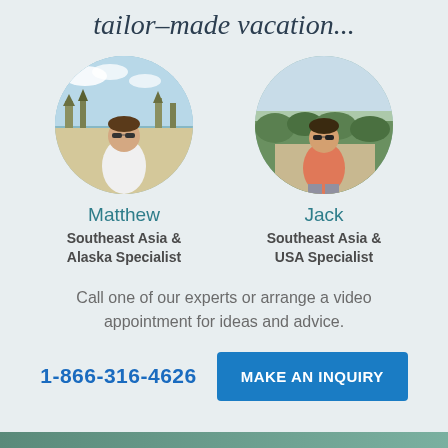tailor-made vacation...
[Figure (photo): Circular profile photo of Matthew, a travel specialist, standing outdoors at an Asian temple site, wearing a white t-shirt and sunglasses]
Matthew
Southeast Asia &
Alaska Specialist
[Figure (photo): Circular profile photo of Jack, a travel specialist, standing outdoors at an elevated overlook, wearing a coral/pink t-shirt and sunglasses]
Jack
Southeast Asia &
USA Specialist
Call one of our experts or arrange a video appointment for ideas and advice.
1-866-316-4626
MAKE AN INQUIRY